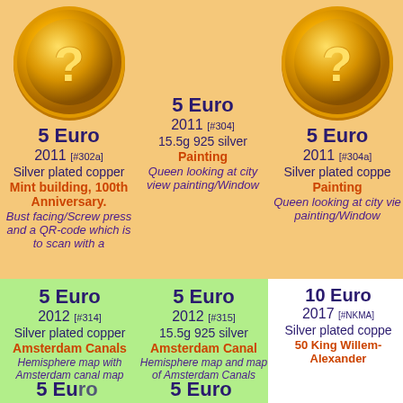[Figure (illustration): Gold coin with question mark - left column top]
5 Euro
2011 [#302a]
Silver plated copper
Mint building, 100th Anniversary.
Bust facing/Screw press and a QR-code which is to scan with a
5 Euro
2011 [#304]
15.5g 925 silver
Painting
Queen looking at city view painting/Window
[Figure (illustration): Gold coin with question mark - right column top]
5 Euro
2011 [#304a]
Silver plated copper
Painting
Queen looking at city view painting/Window
5 Euro
2012 [#314]
Silver plated copper
Amsterdam Canals
Hemisphere map with Amsterdam canal map
5 Euro
2012 [#315]
15.5g 925 silver
Amsterdam Canal
Hemisphere map and map of Amsterdam Canals
10 Euro
2017 [#NKMA]
Silver plated copper
50 King Willem-Alexander
5 Euro
5 Euro